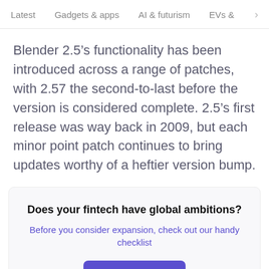Latest   Gadgets & apps   AI & futurism   EVs & mobil  >
Blender 2.5’s functionality has been introduced across a range of patches, with 2.57 the second-to-last before the version is considered complete. 2.5’s first release was way back in 2009, but each minor point patch continues to bring updates worthy of a heftier version bump.
Does your fintech have global ambitions?
Before you consider expansion, check out our handy checklist
Read article